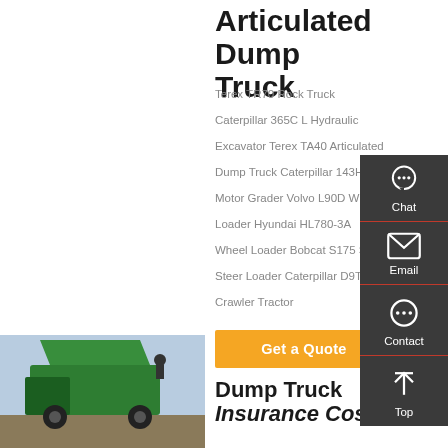Articulated Dump Truck
Terex TR70 Rock Truck
Caterpillar 365C L Hydraulic Excavator Terex TA40 Articulated Dump Truck Caterpillar 143H Motor Grader Volvo L90D Wheel Loader Hyundai HL780-3A Wheel Loader Bobcat S175 Skid Steer Loader Caterpillar D9T Crawler Tractor
[Figure (other): Orange 'Get a Quote' button]
[Figure (photo): Green dump truck photo in bottom left corner]
Dump Truck Insurance  Cost &